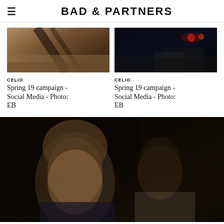BAD & PARTNERS
[Figure (photo): Dark close-up photo showing shadow and pavement texture, part of Celio Spring 19 campaign]
CELIO
Spring 19 campaign - Social Media - Photo: EB
[Figure (photo): Dark nighttime street photo with car headlights, part of Celio Spring 19 campaign]
CELIO
Spring 19 campaign - Social Media - Photo: EB
[Figure (photo): Fashion photo of two male models, one younger with brown hair in foreground, one older bald man in background, against dark background]